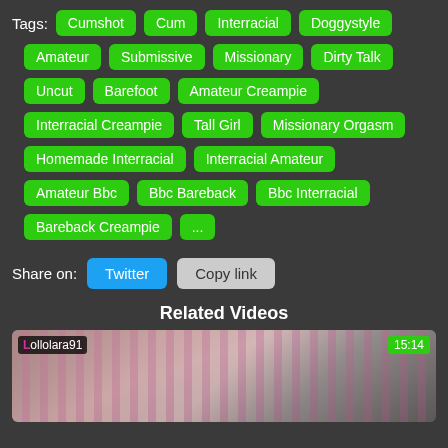Tags: Cumshot  Cum  Interracial  Doggystyle  Amateur  Submissive  Missionary  Dirty Talk  Uncut  Barefoot  Amateur Creampie  Interracial Creampie  Tall Girl  Missionary Orgasm  Homemade Interracial  Interracial Amateur  Amateur Bbc  Bbc Bareback  Bbc Interracial  Bareback Creampie  ...
Share on:  Twitter  Copy link
Related Videos
[Figure (screenshot): Video thumbnail for lollolara91, duration 15:14, showing a person in purple striped clothing]